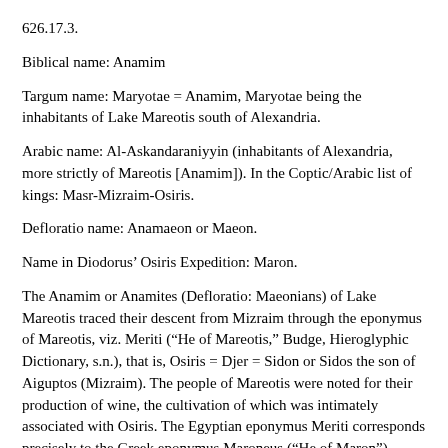626.17.3.
Biblical name: Anamim
Targum name: Maryotae = Anamim, Maryotae being the inhabitants of Lake Mareotis south of Alexandria.
Arabic name: Al-Askandaraniyyin (inhabitants of Alexandria, more strictly of Mareotis [Anamim]). In the Coptic/Arabic list of kings: Masr-Mizraim-Osiris.
Defloratio name: Anamaeon or Maeon.
Name in Diodorus’ Osiris Expedition: Maron.
The Anamim or Anamites (Defloratio: Maeonians) of Lake Mareotis traced their descent from Mizraim through the eponymus of Mareotis, viz. Meriti (“He of Mareotis,” Budge, Hieroglyphic Dictionary, s.n.), that is, Osiris = Djer = Sidon or Sidos the son of Aiguptos (Mizraim). The people of Mareotis were noted for their production of wine, the cultivation of which was intimately associated with Osiris. The Egyptian eponymus Meriti corresponds precisely to the Greek eponymus Maroneus (“He of Maron”), which was a sobriquet of Dionysus (= Osiris). Anamim is second after Mizraim in Genesis, and Djer second after Narmer-Men in the